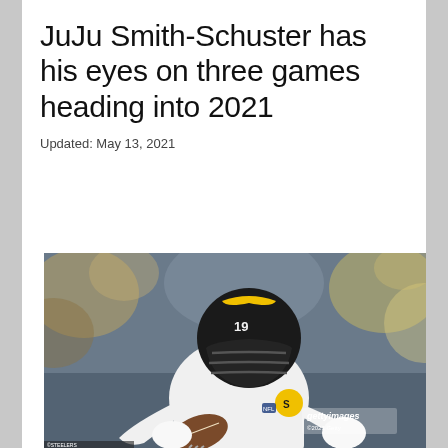JuJu Smith-Schuster has his eyes on three games heading into 2021
Updated: May 13, 2021
[Figure (photo): Pittsburgh Steelers wide receiver JuJu Smith-Schuster wearing white jersey and black helmet with number 19, catching a football. Getty Images watermark visible in lower right.]